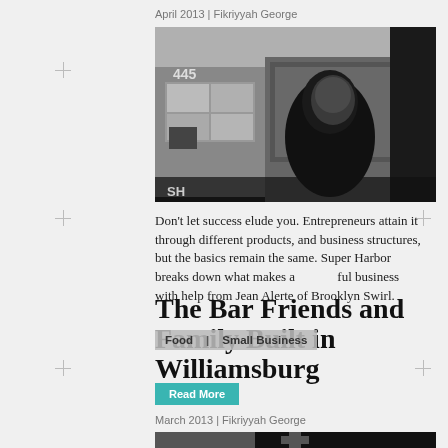April 2013 | Fikriyyah George
[Figure (photo): Black and white photo of a young man standing in front of a storefront with the number 445 visible, Brooklyn setting]
Don't let success elude you. Entrepreneurs attain it through different products, and business structures, but the basics remain the same. Super Harbor breaks down what makes a successful business with help from Jean Alerte of Brooklyn Swirl.
Food | Small Business
Read More
The Bar Friends and Family Built in Williamsburg
March 2013 | Fikriyyah George
[Figure (photo): Partial photo of a bar entrance in Williamsburg with a plus/cross symbol overlay]